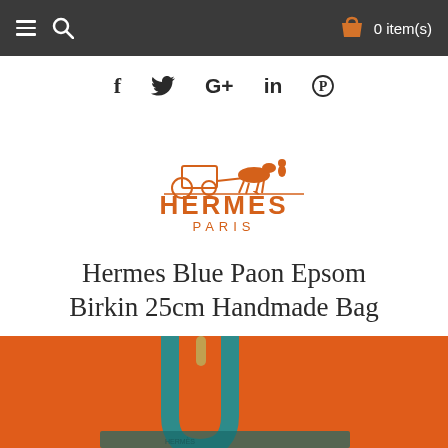≡  🔍   0 item(s)
[Figure (other): Social media icons: Facebook (f), Twitter (bird), Google+ (G+), LinkedIn (in), Pinterest (P)]
[Figure (logo): Hermès Paris logo — orange horse-drawn carriage with rider, HERMÈS PARIS text in orange]
Hermes Blue Paon Epsom Birkin 25cm Handmade Bag
[Figure (photo): Close-up of a teal/blue Hermès Birkin bag handle against an orange background]